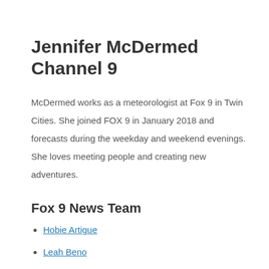Jennifer McDermed Channel 9
McDermed works as a meteorologist at Fox 9 in Twin Cities. She joined FOX 9 in January 2018 and forecasts during the weekday and weekend evenings. She loves meeting people and creating new adventures.
Fox 9 News Team
Hobie Artigue
Leah Beno